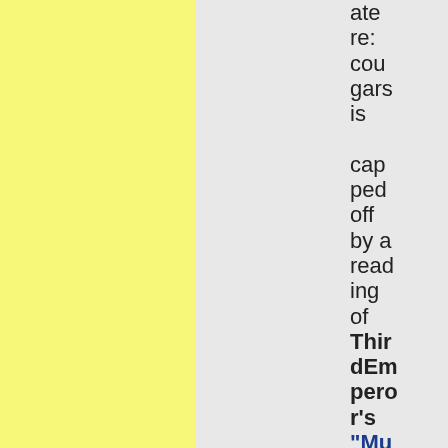ate re: cougars is capped off by a reading of Third Emperor's "Murder on the Ockient Expr